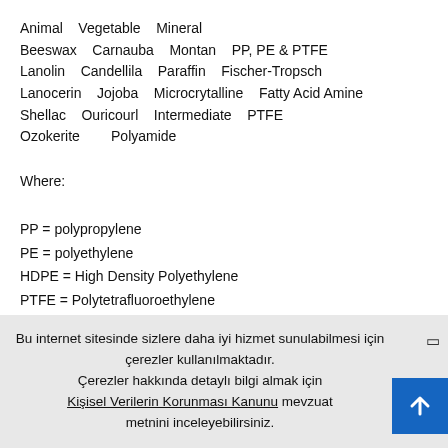Animal   Vegetable   Mineral
Beeswax   Carnauba   Montan   PP, PE & PTFE
Lanolin   Candellila   Paraffin   Fischer-Tropsch
Lanocerin   Jojoba   Microcrytalline   Fatty Acid Amine
Shellac   Ouricourl   Intermediate   PTFE
Ozokerite        Polyamide
Where:

PP = polypropylene
PE = polyethylene
HDPE = High Density Polyethylene
PTFE = Polytetrafluoroethylene
Bu internet sitesinde sizlere daha iyi hizmet sunulabilmesi için çerezler kullanılmaktadır. Çerezler hakkında detaylı bilgi almak için Kişisel Verilerin Korunması Kanunu mevzuat metnini inceleyebilirsiniz.